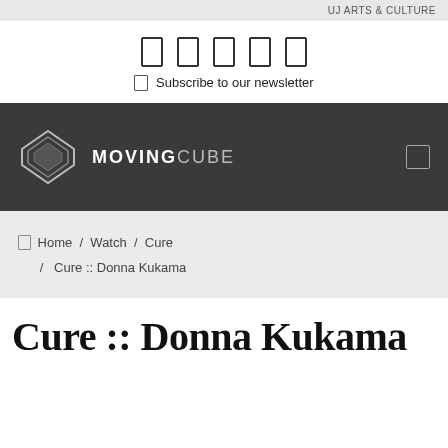UJ ARTS & CULTURE
[Figure (logo): Social media icon buttons (rectangle outlines) and Subscribe to our newsletter link]
[Figure (logo): Moving Cube logo — diamond/chevron geometric logo with text MOVINGCUBE on dark grey navigation banner]
Home / Watch / Cure / Cure :: Donna Kukama
Cure :: Donna Kukama